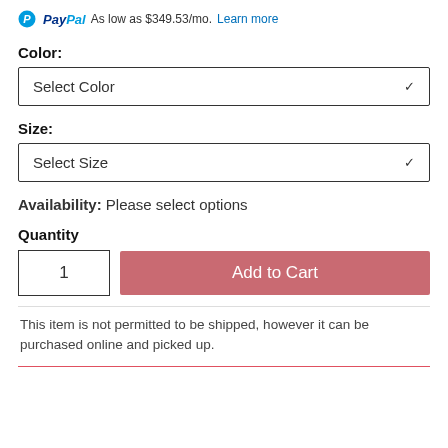PayPal  As low as $349.53/mo. Learn more
Color:
Select Color
Size:
Select Size
Availability: Please select options
Quantity
1
Add to Cart
This item is not permitted to be shipped, however it can be purchased online and picked up.